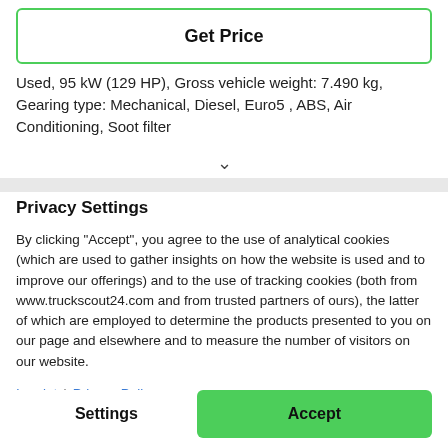Get Price
Used, 95 kW (129 HP), Gross vehicle weight: 7.490 kg, Gearing type: Mechanical, Diesel, Euro5 , ABS, Air Conditioning, Soot filter
Privacy Settings
By clicking "Accept", you agree to the use of analytical cookies (which are used to gather insights on how the website is used and to improve our offerings) and to the use of tracking cookies (both from www.truckscout24.com and from trusted partners of ours), the latter of which are employed to determine the products presented to you on our page and elsewhere and to measure the number of visitors on our website.
Imprint | Privacy Policy
Settings
Accept